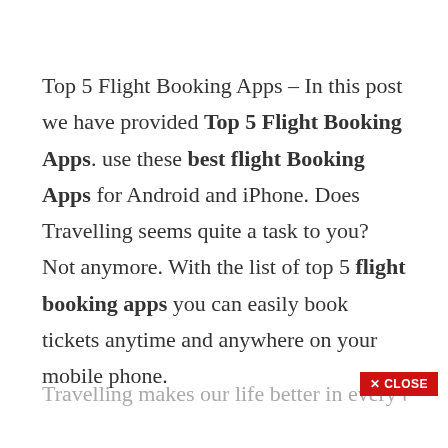Top 5 Flight Booking Apps – In this post we have provided Top 5 Flight Booking Apps. use these best flight Booking Apps for Android and iPhone. Does Travelling seems quite a task to you? Not anymore. With the list of top 5 flight booking apps you can easily book tickets anytime and anywhere on your mobile phone.
Travelling makes our life better in every better i...